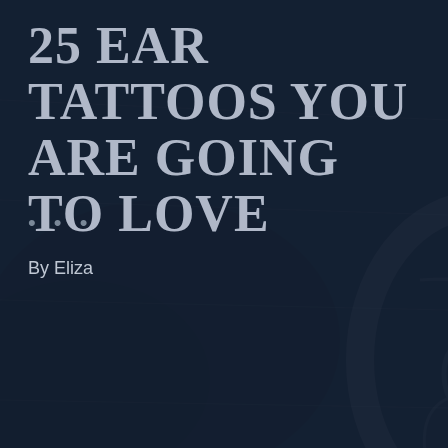[Figure (photo): Dark-toned background photo of a person's ear and side of head, showing ear detail, overlaid with a dark navy semi-transparent overlay. Used as article cover image.]
25 EAR TATTOOS YOU ARE GOING TO LOVE
• • •
By Eliza